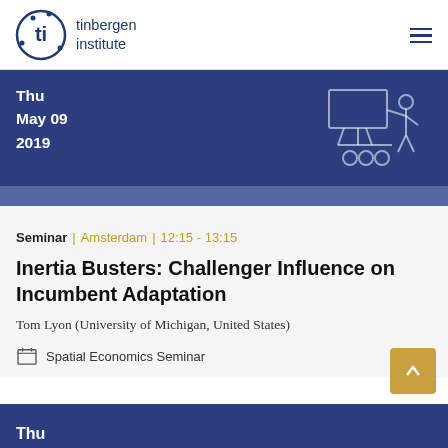tinbergen institute
Thu
May 09
2019
Seminar | Amsterdam | 12:15 - 13:15
Inertia Busters: Challenger Influence on Incumbent Adaptation
Tom Lyon (University of Michigan, United States)
Spatial Economics Seminar
Thu